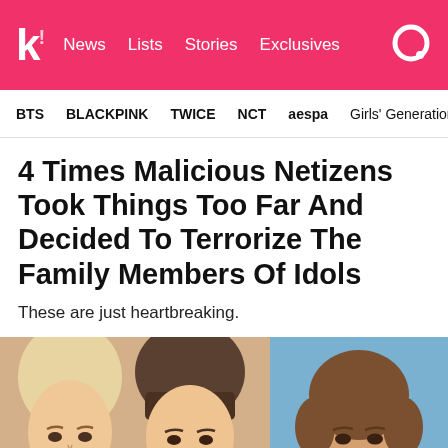k! News Lists Stories Exclusives
BTS   BLACKPINK   TWICE   NCT   aespa   Girls' Generation
4 Times Malicious Netizens Took Things Too Far And Decided To Terrorize The Family Members Of Idols
These are just heartbreaking.
[Figure (photo): Collage of two photos: left shows two young women faces close-up (one with blonde hair, one with dark hair), right shows another young woman with short brown hair against blue background]